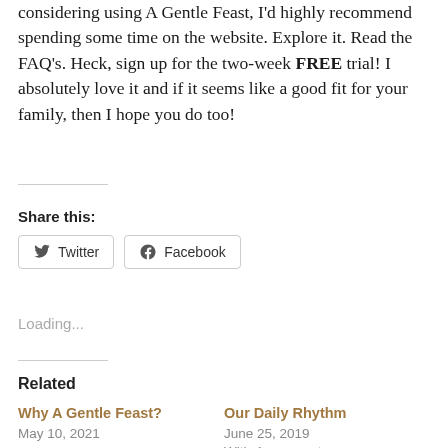considering using A Gentle Feast, I'd highly recommend spending some time on the website. Explore it. Read the FAQ's. Heck, sign up for the two-week FREE trial! I absolutely love it and if it seems like a good fit for your family, then I hope you do too!
Share this:
[Figure (other): Twitter and Facebook share buttons]
Loading...
Related
Why A Gentle Feast?
May 10, 2021
Our Daily Rhythm
June 25, 2019
With 4 comments